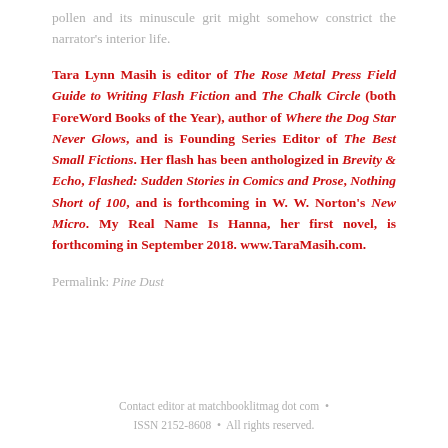pollen and its minuscule grit might somehow constrict the narrator's interior life.
Tara Lynn Masih is editor of The Rose Metal Press Field Guide to Writing Flash Fiction and The Chalk Circle (both ForeWord Books of the Year), author of Where the Dog Star Never Glows, and is Founding Series Editor of The Best Small Fictions. Her flash has been anthologized in Brevity & Echo, Flashed: Sudden Stories in Comics and Prose, Nothing Short of 100, and is forthcoming in W. W. Norton's New Micro. My Real Name Is Hanna, her first novel, is forthcoming in September 2018. www.TaraMasih.com.
Permalink: Pine Dust
Contact editor at matchbooklitmag dot com  •  ISSN 2152-8608  •  All rights reserved.